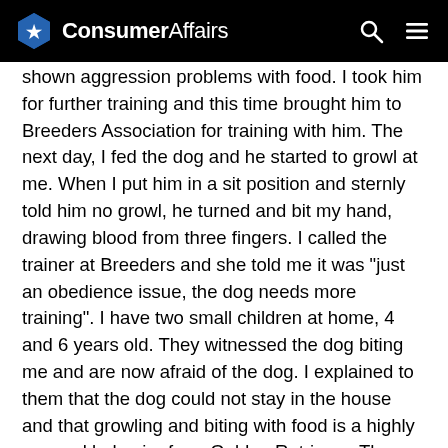ConsumerAffairs
shown aggression problems with food. I took him for further training and this time brought him to Breeders Association for training with him. The next day, I fed the dog and he started to growl at me. When I put him in a sit position and sternly told him no growl, he turned and bit my hand, drawing blood from three fingers. I called the trainer at Breeders and she told me it was "just an obedience issue, the dog needs more training". I have two small children at home, 4 and 6 years old. They witnessed the dog biting me and are now afraid of the dog. I explained to them that the dog could not stay in the house and that growling and biting with food is a highly unusual behavior for a Golden Retriever. They told me that if I just trained him more that he would never bit again. I called my vet and explained to him the situation and he told me that if I did continue to train this